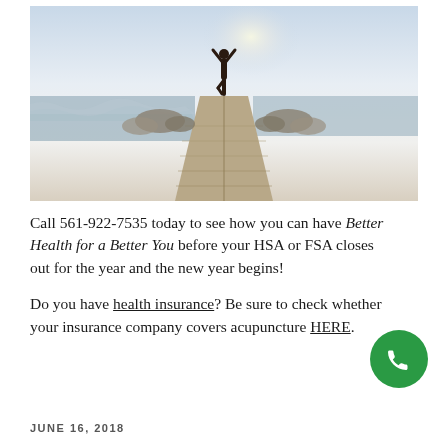[Figure (photo): Person standing in tree yoga pose on a wooden pier extending toward the ocean, silhouetted against a bright sky, photographed from ground level perspective.]
Call 561-922-7535 today to see how you can have Better Health for a Better You before your HSA or FSA closes out for the year and the new year begins!
Do you have health insurance? Be sure to check whether your insurance company covers acupuncture HERE.
JUNE 16, 2018